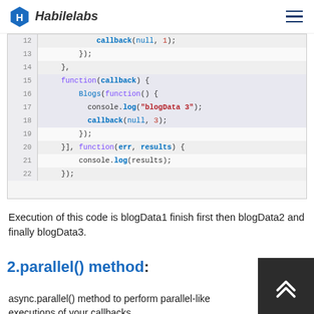Habilelabs
[Figure (screenshot): Code editor showing JavaScript async waterfall code, lines 12-22. Line 12: callback(null, 1); Line 13: }); Line 14: }, Line 15: function(callback) { Line 16: Blogs(function() { Line 17: console.log("blogData 3"); Line 18: callback(null, 3); Line 19: }); Line 20: }], function(err, results) { Line 21: console.log(results); Line 22: });]
Execution of this code is blogData1 finish first then blogData2 and finally blogData3.
2.parallel() method:
async.parallel() method to perform parallel-like executions of your callbacks.